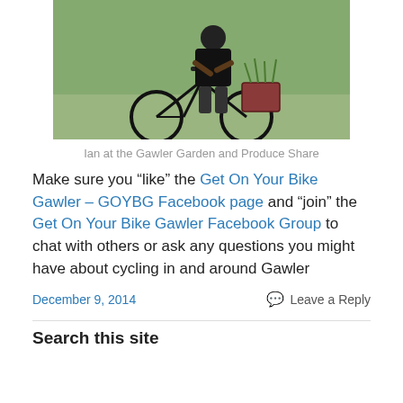[Figure (photo): Person on a bicycle with a basket of plants, taken outdoors on a grassy area]
Ian at the Gawler Garden and Produce Share
Make sure you “like” the Get On Your Bike Gawler – GOYBG Facebook page and “join” the Get On Your Bike Gawler Facebook Group to chat with others or ask any questions you might have about cycling in and around Gawler
December 9, 2014    Leave a Reply
Search this site